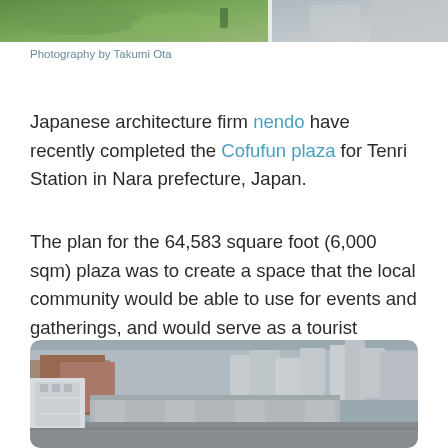[Figure (photo): Partial top strip showing green outdoor/garden scene on left and grey/white scene on right]
Photography by Takumi Ota
Japanese architecture firm nendo have recently completed the Cofufun plaza for Tenri Station in Nara prefecture, Japan.
The plan for the 64,583 square foot (6,000 sqm) plaza was to create a space that the local community would be able to use for events and gatherings, and would serve as a tourist information centre.
[Figure (photo): Aerial photograph of Tenri Station area in Nara, Japan showing urban buildings, station roof structure, and surrounding city streets]